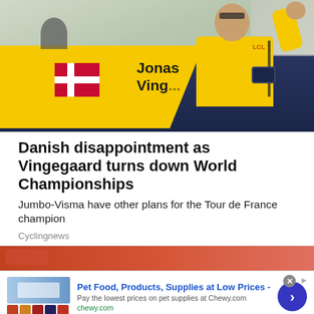[Figure (photo): Jonas Vingegaard in yellow Tour de France jersey waving from a convertible car, with Danish flag visible on the car door]
Danish disappointment as Vingegaard turns down World Championships
Jumbo-Visma have other plans for the Tour de France champion
Cyclingnews
[Figure (photo): Partial view of a second article image (red/orange colored) below a divider]
[Figure (screenshot): Advertisement banner: Pet Food, Products, Supplies at Low Prices - Pay the lowest prices on pet supplies at Chewy.com]